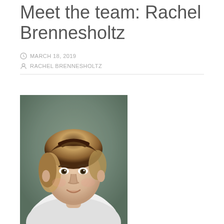Meet the team: Rachel Brennesholtz
MARCH 18, 2019
RACHEL BRENNESHOLTZ
[Figure (photo): Professional headshot portrait of Rachel Brennesholtz, a woman with curly blonde-brown hair wearing a white top, photographed against a blurred green/teal background.]